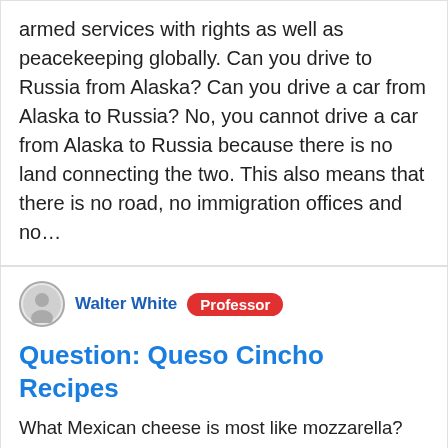armed services with rights as well as peacekeeping globally. Can you drive to Russia from Alaska? Can you drive a car from Alaska to Russia? No, you cannot drive a car from Alaska to Russia because there is no land connecting the two. This also means that there is no road, no immigration offices and no…
Walter White  Professor
Question: Queso Cincho Recipes
What Mexican cheese is most like mozzarella? Oaxaca cheeseOaxaca cheese (Spanish: queso Oaxaca) (English: /wə ˈhækə/ wə-HA-kə), also known as quesillo, is a white, semihard cheese that originated in Mexico.It is similar to unaged Monterey